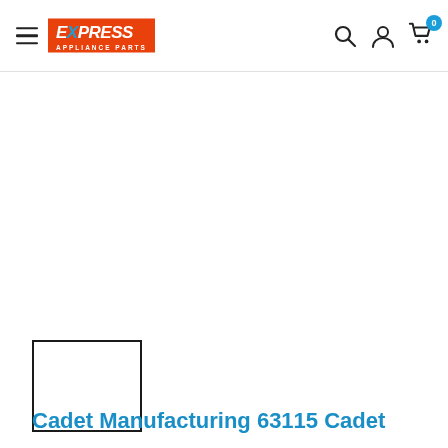Express Appliance Parts — navigation header with hamburger menu, logo, search, account, and cart icons
[Figure (photo): Small thumbnail placeholder box (empty white rectangle with dark border) for product image]
Cadet Manufacturing 63115 Cadet